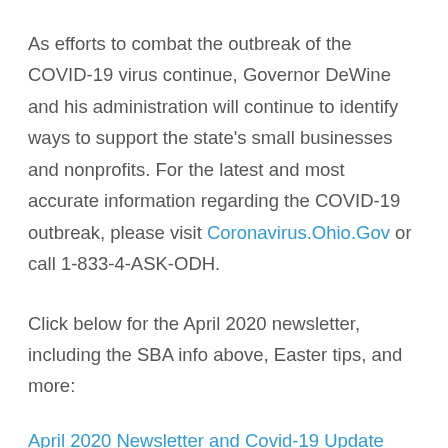As efforts to combat the outbreak of the COVID-19 virus continue, Governor DeWine and his administration will continue to identify ways to support the state's small businesses and nonprofits. For the latest and most accurate information regarding the COVID-19 outbreak, please visit Coronavirus.Ohio.Gov or call 1-833-4-ASK-ODH.
Click below for the April 2020 newsletter, including the SBA info above, Easter tips, and more:
April 2020 Newsletter and Covid-19 Update